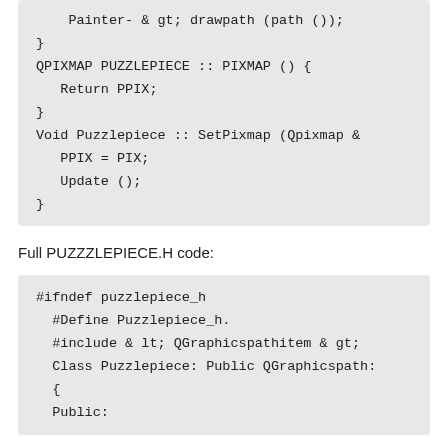Painter- & gt; drawpath (path ());
}
QPIXMAP PUZZLEPIECE :: PIXMAP () {
   Return PPIX;
}
Void Puzzlepiece :: SetPixmap (Qpixmap &
   PPIX = PIX;
   Update ();
}
Full PUZZZLEPIECE.H code:
#ifndef puzzlepiece_h
  #Define Puzzlepiece_h.
  #include & lt; QGraphicspathitem & gt;
  Class Puzzlepiece: Public QGraphicspath:
  {
  Public: